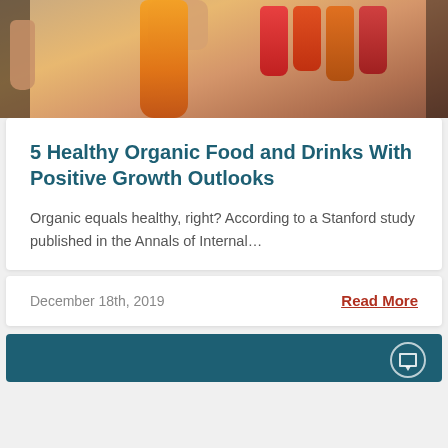[Figure (photo): Person's hand reaching into a vending machine or refrigerator display, grabbing an orange bottle/drink, with colorful product packaging visible on shelves in the background]
5 Healthy Organic Food and Drinks With Positive Growth Outlooks
Organic equals healthy, right? According to a Stanford study published in the Annals of Internal...
December 18th, 2019
Read More
[Figure (other): Partial view of another article card with dark teal/navy background, partially cut off at bottom of page]